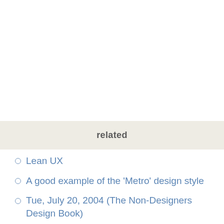related
Lean UX
A good example of the 'Metro' design style
Tue, July 20, 2004 (The Non-Designers Design Book)